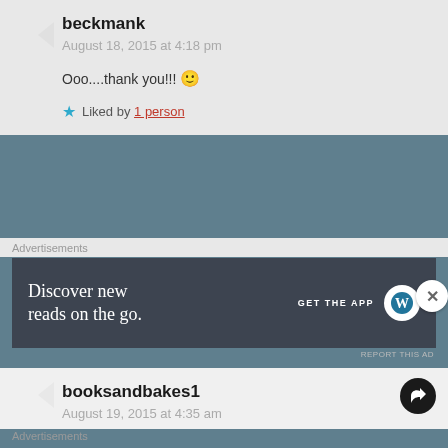beckmank
August 18, 2015 at 4:18 pm
Ooo....thank you!!! 🙂
★ Liked by 1 person
Advertisements
[Figure (other): WordPress app advertisement banner: dark grey background, text 'Discover new reads on the go.' with 'GET THE APP' and WordPress logo]
REPORT THIS AD
booksandbakes1
August 19, 2015 at 4:35 am
Advertisements
[Figure (other): DuckDuckGo advertisement banner: orange/red background, text 'Search, browse, and email with more privacy. All in One Free App' with DuckDuckGo logo on a phone mockup]